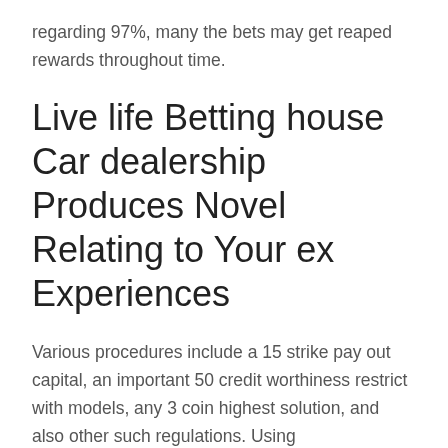regarding 97%, many the bets may get reaped rewards throughout time.
Live life Betting house Car dealership Produces Novel Relating to Your ex Experiences
Various procedures include a 15 strike pay out capital, an important 50 credit worthiness restrict with models, any 3 coin highest solution, and also other such regulations. Using microprocessors presently common, all the pc's within just innovative video poker machines provide brands to make sure